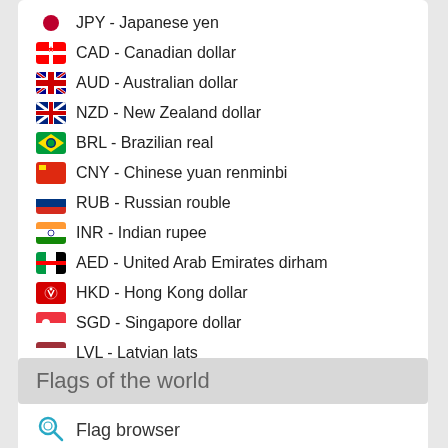JPY - Japanese yen
CAD - Canadian dollar
AUD - Australian dollar
NZD - New Zealand dollar
BRL - Brazilian real
CNY - Chinese yuan renminbi
RUB - Russian rouble
INR - Indian rupee
AED - United Arab Emirates dirham
HKD - Hong Kong dollar
SGD - Singapore dollar
LVL - Latvian lats
MXN - Mexican peso
ZAR - South Africa rand
BTC - Bitcoin
Flags of the world
Flag browser